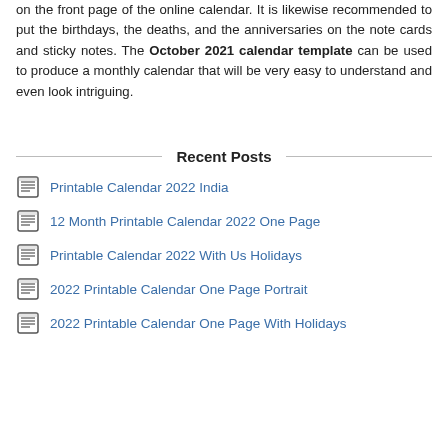on the front page of the online calendar. It is likewise recommended to put the birthdays, the deaths, and the anniversaries on the note cards and sticky notes. The October 2021 calendar template can be used to produce a monthly calendar that will be very easy to understand and even look intriguing.
Recent Posts
Printable Calendar 2022 India
12 Month Printable Calendar 2022 One Page
Printable Calendar 2022 With Us Holidays
2022 Printable Calendar One Page Portrait
2022 Printable Calendar One Page With Holidays